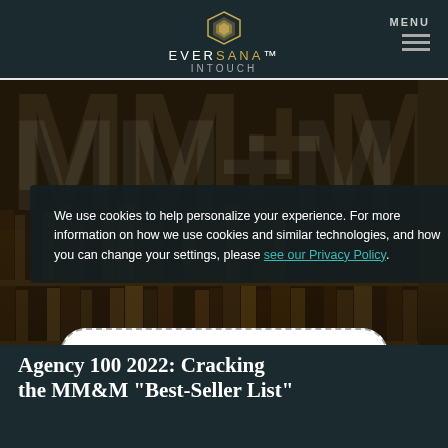EVERSANA INTOUCH — MENU
[Figure (screenshot): Background image showing MM&M letters and bookshelves, darkened, with a cookie consent popup overlay and an ACCEPT COOKIES button]
We use cookies to help personalize your experience. For more information on how we use cookies and similar technologies, and how you can change your settings, please see our Privacy Policy.
ACCEPT COOKIES
Agency 100 2022: Cracking the MM&M "Best-Seller List"